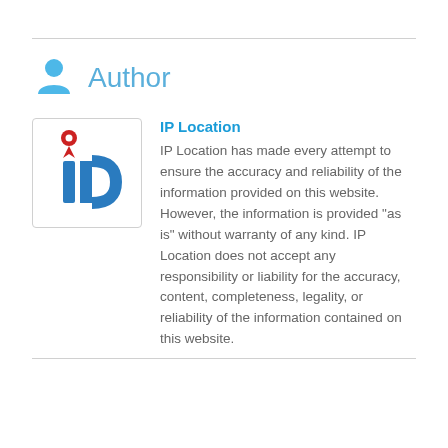Author
[Figure (logo): IP Location logo — blue stylized 'ip' letters with a red map pin marker above the 'i']
IP Location
IP Location has made every attempt to ensure the accuracy and reliability of the information provided on this website. However, the information is provided "as is" without warranty of any kind. IP Location does not accept any responsibility or liability for the accuracy, content, completeness, legality, or reliability of the information contained on this website.